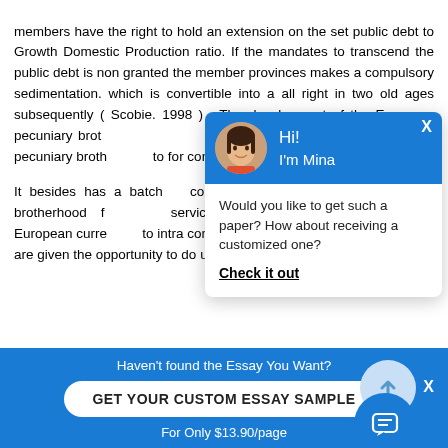members have the right to hold an extension on the set public debt to Growth Domestic Production ratio. If the mandates to transcend the public debt is non granted the member provinces makes a compulsory sedimentation. which is convertible into a all right in two old ages subsequently ( Scobie. 1998 ) . The development of the European pecuniary brotherhood also is a really affecting procedure European pecuniary brotherhood to for concerns and house
It besides has a batch communities in other s pecuniary brotherhood f services. goods and ca individual European curre to intra community trade. are given the opportunity to do usage and w
[Figure (screenshot): Chat popup with avatar of Mina, blue header reading 'Hi! I'm Mina', body text 'Would you like to get such a paper? How about receiving a customized one?' with a 'Check it out' link]
[Figure (screenshot): Bottom blue banner: Haven't found the Essay You Want? GET YOUR CUSTOM ESSAY SAMPLE button. For Only $13.90/page]